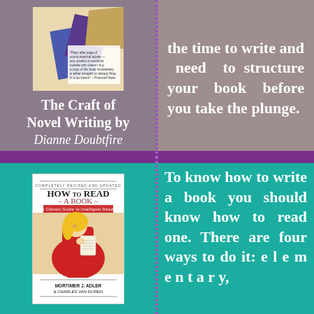[Figure (photo): Book cover of 'The Craft of Novel Writing' by Dianne Doubtfire, showing abstract geometric shapes in blue, purple, and tan.]
The Craft of Novel Writing by Dianne Doubtfire
the time to write and need to structure your book before you take the plunge.
[Figure (photo): Book cover of 'How to Read a Book' by Mortimer J. Adler & Charles Van Doren. Shows a woman in red reading, with text 'Completely Revised and Updated', 'How to Read a Book', 'The Classic Guide to Intelligent Reading', 'Mortimer J. Adler & Charles Van Doren'.]
To know how to write a book you should know how to read one. There are four ways to do it: e l e m e n t a r y,